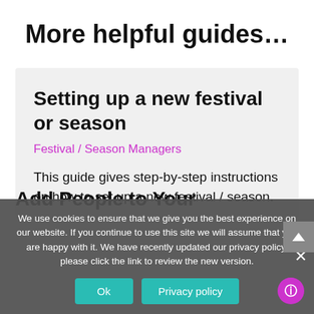More helpful guides…
Setting up a new festival or season
Festival / Season Managers
This guide gives step-by-step instructions on how to set up a new festival / season.
We use cookies to ensure that we give you the best experience on our website. If you continue to use this site we will assume that you are happy with it. We have recently updated our privacy policy, please click the link to review the new version.
Add People to Your